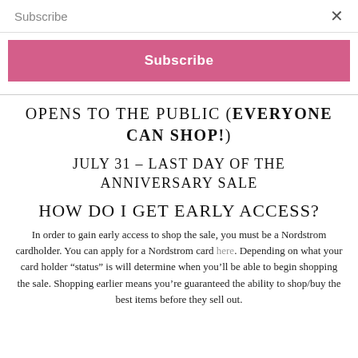Subscribe   ×
Subscribe
OPENS TO THE PUBLIC (EVERYONE CAN SHOP!)
JULY 31 – LAST DAY OF THE ANNIVERSARY SALE
HOW DO I GET EARLY ACCESS?
In order to gain early access to shop the sale, you must be a Nordstrom cardholder. You can apply for a Nordstrom card here. Depending on what your card holder “status” is will determine when you’ll be able to begin shopping the sale. Shopping earlier means you’re guaranteed the ability to shop/buy the best items before they sell out.